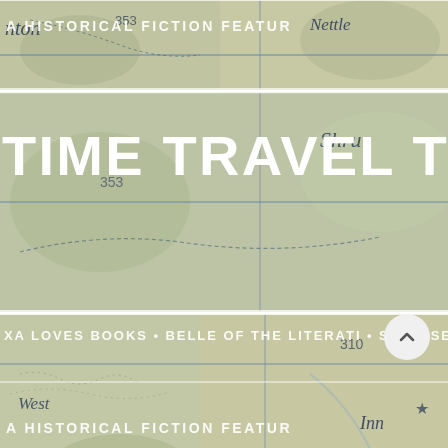[Figure (map): Vintage/antique topographic map showing roads, place names including 'Kington Wick', 'Nettleton', 'Inn', partial text 'West', 'Shrub', with blue road lines and dashed paths on a cream/green background. Used as a repeating background image across three horizontal bands.]
A HISTORICAL FICTION FEATUR
TIME TRAVEL TO
XA LOVES BOOKS • BELLE OF THE LITERATI • SO OBSESSED W
A HISTORICAL FICTION FEATUR